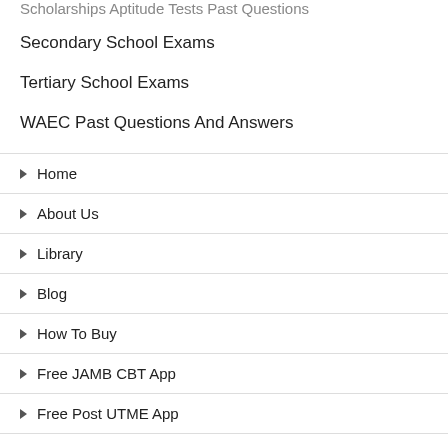Scholarships Aptitude Tests Past Questions
Secondary School Exams
Tertiary School Exams
WAEC Past Questions And Answers
Home
About Us
Library
Blog
How To Buy
Free JAMB CBT App
Free Post UTME App
Post UTME Tips 2018
Job Tests and Interviews